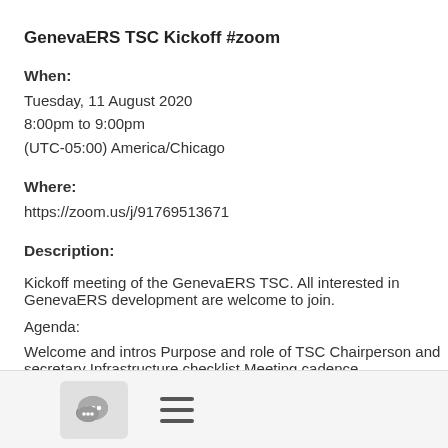GenevaERS TSC Kickoff #zoom
When:
Tuesday, 11 August 2020
8:00pm to 9:00pm
(UTC-05:00) America/Chicago
Where:
https://zoom.us/j/91769513671
Description:
Kickoff meeting of the GenevaERS TSC. All interested in GenevaERS development are welcome to join.
Agenda:
Welcome and intros Purpose and role of TSC Chairperson and secretary Infrastructure checklist Meeting cadence
Join Zoom Meeting https://zoom.us/j/91769513671
[Figure (other): Footer bar with chat bubble icon button and hamburger menu icon]